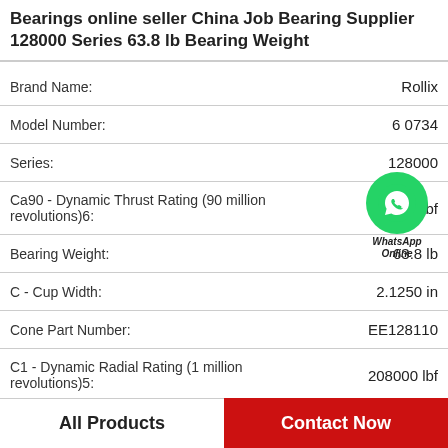Bearings online seller China Job Bearing Supplier 128000 Series 63.8 lb Bearing Weight
| Property | Value |
| --- | --- |
| Brand Name: | Rollix |
| Model Number: | 6 0734 |
| Series: | 128000 |
| Ca90 - Dynamic Thrust Rating (90 million revolutions)6: | 67600 lbf |
| Bearing Weight: | 63.8 lb |
| C - Cup Width: | 2.1250 in |
| Cone Part Number: | EE128110 |
| C1 - Dynamic Radial Rating (1 million revolutions)5: | 208000 lbf |
| C1 - Static Radial Rating: | 108000 lbf |
[Figure (logo): WhatsApp Online contact bubble with green phone icon]
All Products   Contact Now